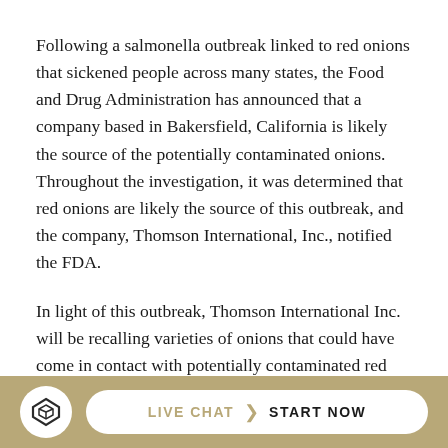Following a salmonella outbreak linked to red onions that sickened people across many states, the Food and Drug Administration has announced that a company based in Bakersfield, California is likely the source of the potentially contaminated onions. Throughout the investigation, it was determined that red onions are likely the source of this outbreak, and the company, Thomson International, Inc., notified the FDA.
In light of this outbreak, Thomson International Inc. will be recalling varieties of onions that could have come in contact with potentially contaminated red onions, likely due to cross-contamination. Onions being recalled include...